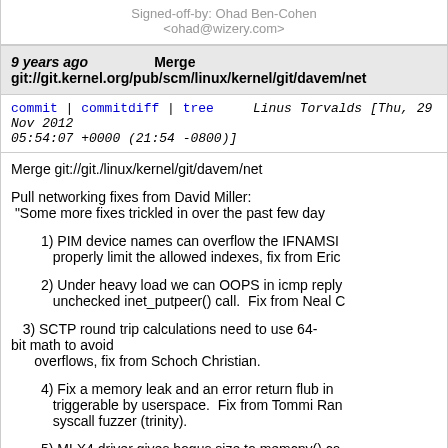Signed-off-by: Ohad Ben-Cohen <ohad@wizery.com>
9 years ago   Merge git://git.kernel.org/pub/scm/linux/kernel/git/davem/net
commit | commitdiff | tree   Linus Torvalds [Thu, 29 Nov 2012 05:54:07 +0000 (21:54 -0800)]
Merge git://git./linux/kernel/git/davem/net

Pull networking fixes from David Miller:
 "Some more fixes trickled in over the past few day

 1) PIM device names can overflow the IFNAMSI
    properly limit the allowed indexes, fix from Erid

 2) Under heavy load we can OOPS in icmp reply
    unchecked inet_putpeer() call.  Fix from Neal C

 3) SCTP round trip calculations need to use 64-bit math to avoid
    overflows, fix from Schoch Christian.

 4) Fix a memory leak and an error return flub in
    triggerable by userspace.  Fix from Tommi Rar
    syscall fuzzer (trinity).

 5) MLX4 driver gives bogus size to memcpy() ca
    Vadai.